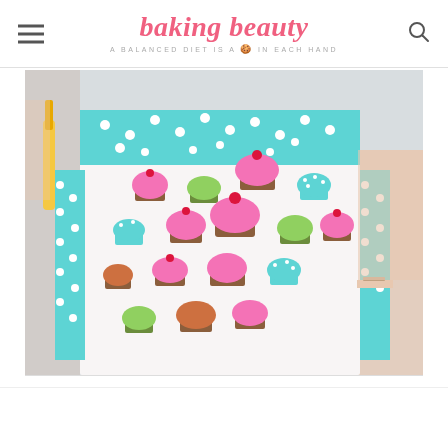baking beauty — A BALANCED DIET IS A 🍪 IN EACH HAND
[Figure (photo): A person wearing a white apron decorated with colorful cupcake patterns (pink frosted cupcakes, green cupcakes, blue polka dot cupcakes) with a teal/aqua polka dot border and ruffle trim. The person is holding what appears to be a yellow utensil. A light blue wall is visible in the background.]